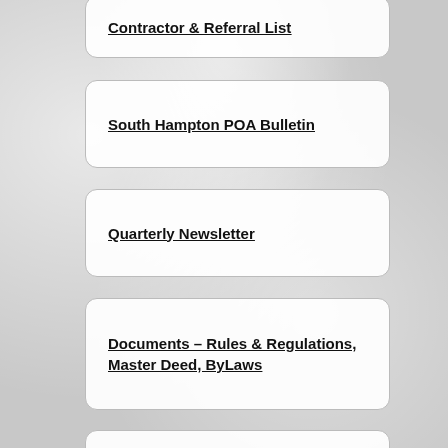Contractor & Referral List
South Hampton POA Bulletin
Quarterly Newsletter
Documents – Rules & Regulations, Master Deed, ByLaws
Projects – Bids & Proposals